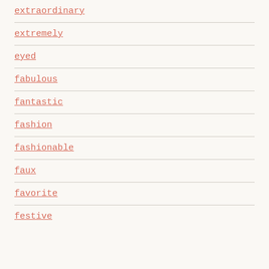extraordinary
extremely
eyed
fabulous
fantastic
fashion
fashionable
faux
favorite
festive